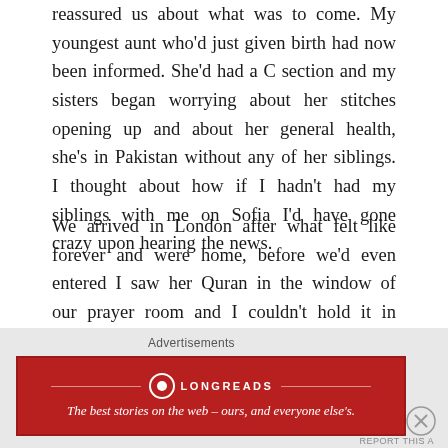reassured us about what was to come. My youngest aunt who'd just given birth had now been informed. She'd had a C section and my sisters began worrying about her stitches opening up and about her general health, she's in Pakistan without any of her siblings. I thought about how if I hadn't had my siblings with me on Sofia I'd have gone crazy upon hearing the news.
We arrived in London after what felt like forever and were home, before we'd even entered I saw her Quran in the window of our prayer room and I couldn't hold it in anymore. My youngest brother, Hassan, opened the door, he's been crying nonstop since he's found out. We hugged and cried with everyone, prayed so much that's all my brain is full of the words of Allah and duas and
Advertisements
[Figure (logo): Longreads advertisement banner — red background with Longreads logo and tagline 'The best stories on the web — ours, and everyone else's.']